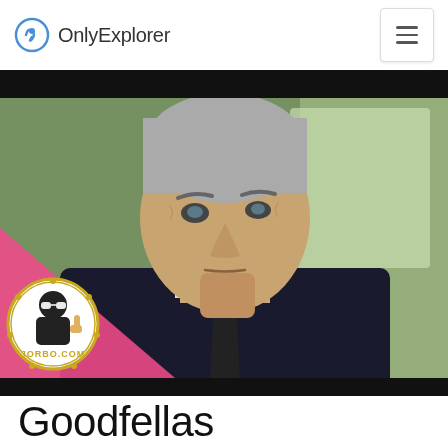OnlyExplorer
[Figure (photo): Close-up photo of an older man with grey hair in a dark suit, looking serious with his fist raised to his chin. A pink triangle and Jorbo.com logo overlay is in the bottom-left corner.]
Goodfellas